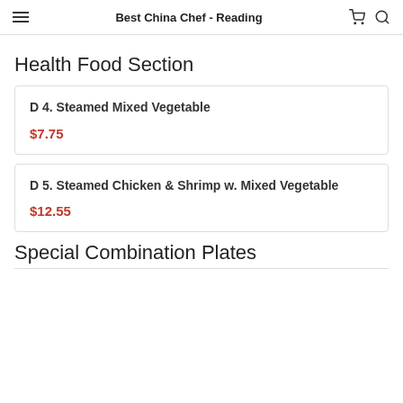Best China Chef - Reading
Health Food Section
D 4. Steamed Mixed Vegetable
$7.75
D 5. Steamed Chicken & Shrimp w. Mixed Vegetable
$12.55
Special Combination Plates